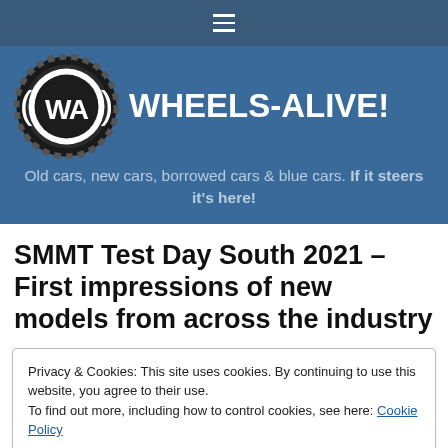[Figure (logo): Wheels-Alive website navigation bar with hamburger menu icon on dark blue background]
[Figure (logo): Wheels-Alive logo: gear/tire circle with WA initials in white]
WHEELS-ALIVE!
Old cars, new cars, borrowed cars & blue cars. If it steers it's here!
SMMT Test Day South 2021 – First impressions of new models from across the industry
Privacy & Cookies: This site uses cookies. By continuing to use this website, you agree to their use.
To find out more, including how to control cookies, see here: Cookie Policy
Close and accept